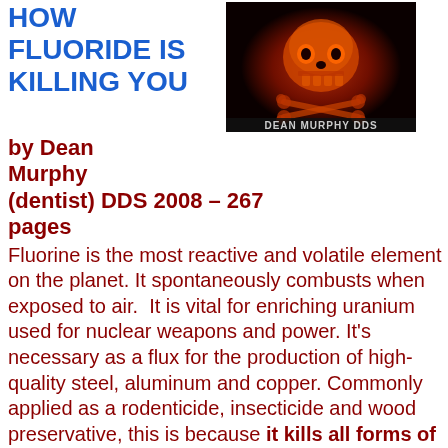HOW FLUORIDE IS KILLING YOU
[Figure (photo): Book cover of 'How Fluoride Is Killing You' by Dean Murphy DDS, showing a red-lit skull and crossbones image with the author's name at the bottom.]
by Dean Murphy (dentist) DDS 2008 – 267 pages
Fluorine is the most reactive and volatile element on the planet. It spontaneously combusts when exposed to air.  It is vital for enriching uranium used for nuclear weapons and power. It's necessary as a flux for the production of high-quality steel, aluminum and copper. Commonly applied as a rodenticide, insecticide and wood preservative, this is because it kills all forms of